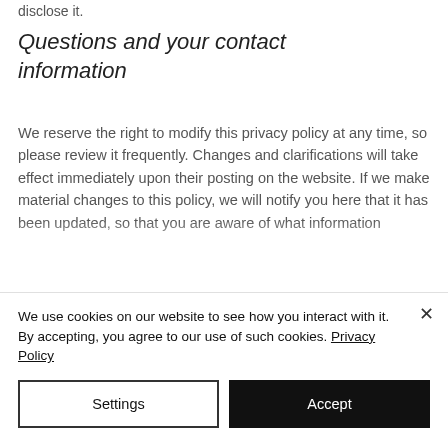disclose it.
Questions and your contact information
We reserve the right to modify this privacy policy at any time, so please review it frequently. Changes and clarifications will take effect immediately upon their posting on the website. If we make material changes to this policy, we will notify you here that it has been updated, so that you are aware of what information
We use cookies on our website to see how you interact with it. By accepting, you agree to our use of such cookies. Privacy Policy